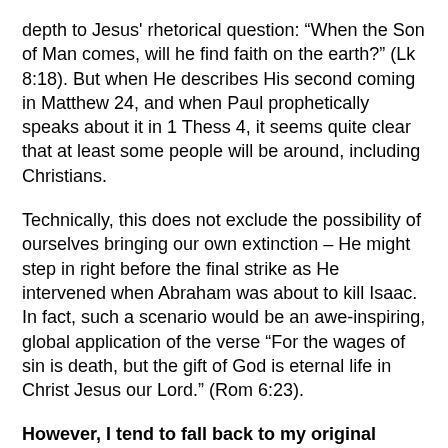depth to Jesus' rhetorical question: “When the Son of Man comes, will he find faith on the earth?” (Lk 8:18). But when He describes His second coming in Matthew 24, and when Paul prophetically speaks about it in 1 Thess 4, it seems quite clear that at least some people will be around, including Christians.
Technically, this does not exclude the possibility of ourselves bringing our own extinction – He might step in right before the final strike as He intervened when Abraham was about to kill Isaac. In fact, such a scenario would be an awe-inspiring, global application of the verse “For the wages of sin is death, but the gift of God is eternal life in Christ Jesus our Lord.” (Rom 6:23).
However, I tend to fall back to my original motivation: climate change kills lots of people here and now and will kill even more in the future – that’s bad enough. As followers of Jesus we have to change that.